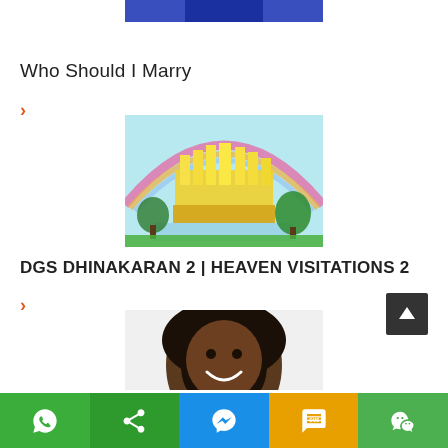[Figure (photo): Partial view of a person in blue clothing at the very top of the page]
Who Should I Marry
>
[Figure (illustration): Golden heavenly city with a rainbow arching over it, surrounded by trees and reflected in water]
DGS DHINAKARAN 2 | HEAVEN VISITATIONS 2
>
[Figure (photo): Smiling person with long dreadlocks, partially visible at bottom]
WhatsApp | Share | Messenger | SMS | WeChat